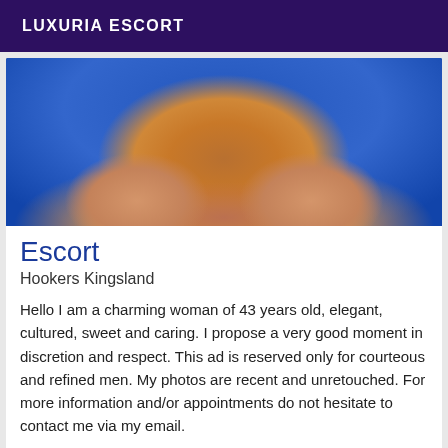LUXURIA ESCORT
[Figure (photo): Close-up photo of a woman in a blue top]
Escort
Hookers Kingsland
Hello I am a charming woman of 43 years old, elegant, cultured, sweet and caring. I propose a very good moment in discretion and respect. This ad is reserved only for courteous and refined men. My photos are recent and unretouched. For more information and/or appointments do not hesitate to contact me via my email.
Online